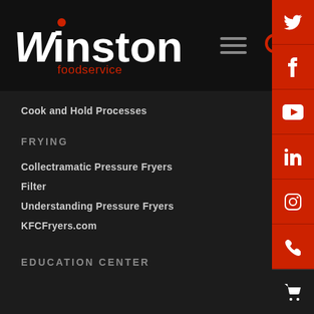[Figure (logo): Winston Foodservice logo with stylized W and red dot on 'i', with 'foodservice' in red below]
Cook and Hold Processes
FRYING
Collectramatic Pressure Fryers
Filter
Understanding Pressure Fryers
KFCFryers.com
EDUCATION CENTER